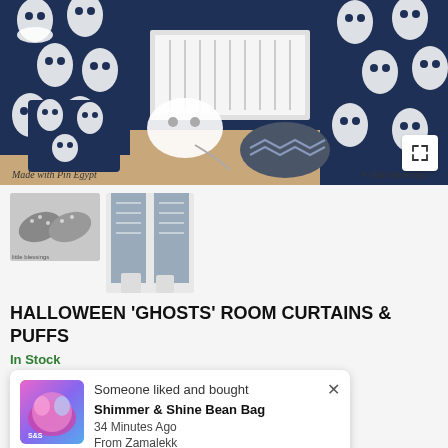[Figure (photo): Room setting with Halloween ghost-pattern curtains in dark navy blue and white, plus matching ghost-pattern cube ottoman/puff and white ghost pillow on wooden floor with radiator in background. Labels: 'Made with Pin Egypt' and 'little blessings']
[Figure (photo): Thumbnail of two rolled/bolster cushions with navy and white pattern]
[Figure (photo): Thumbnail of navy and white patterned curtains in a room setting]
HALLOWEEN 'GHOSTS' ROOM CURTAINS & PUFFS
In Stock
[Figure (photo): Shimmer & Shine Bean Bag product thumbnail - colorful bean bag]
Someone liked and bought
Shimmer & Shine Bean Bag
34 Minutes Ago
From Zamalekk